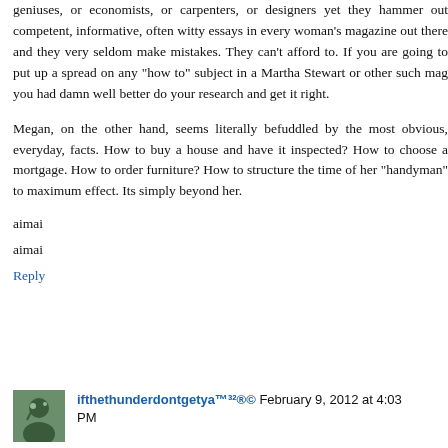geniuses, or economists, or carpenters, or designers yet they hammer out competent, informative, often witty essays in every woman's magazine out there and they very seldom make mistakes. They can't afford to. If you are going to put up a spread on any "how to" subject in a Martha Stewart or other such mag you had damn well better do your research and get it right.
Megan, on the other hand, seems literally befuddled by the most obvious, everyday, facts. How to buy a house and have it inspected? How to choose a mortgage. How to order furniture? How to structure the time of her "handyman" to maximum effect. Its simply beyond her.
aimai
aimai
Reply
ifthethunderdontgetya™³²®© February 9, 2012 at 4:03 PM